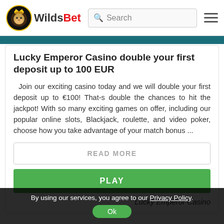WildsBet | Search | Menu
Lucky Emperor Casino double your first deposit up to 100 EUR
Join our exciting casino today and we will double your first deposit up to €100! That-s double the chances to hit the jackpot! With so many exciting games on offer, including our popular online slots, Blackjack, roulette, and video poker, choose how you take advantage of your match bonus ...
READ MORE
PLAY
Lucky Emperor Casino
By using our services, you agree to our Privacy Policy. Ok